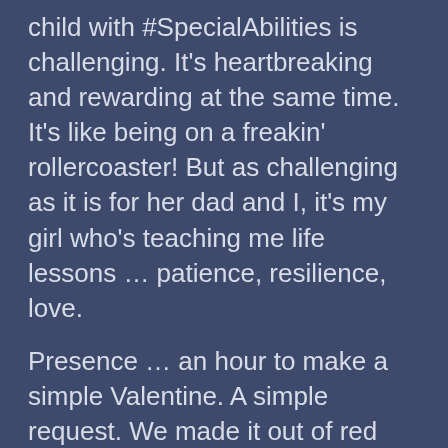child with #SpecialAbilities is challenging. It's heartbreaking and rewarding at the same time. It's like being on a freakin' rollercoaster! But as challenging as it is for her dad and I, it's my girl who's teaching me life lessons … patience, resilience, love.
Presence … an hour to make a simple Valentine. A simple request. We made it out of red stamps, a little glue, and a lot of love. The real reward … the pride she felt, the smile on her face. That's all I need. And my presence is what she needed from me. (Sigh.)
And now off in search of Gallions her...